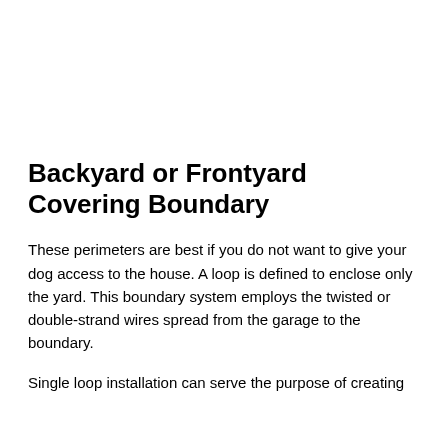Backyard or Frontyard Covering Boundary
These perimeters are best if you do not want to give your dog access to the house. A loop is defined to enclose only the yard. This boundary system employs the twisted or double-strand wires spread from the garage to the boundary.
Single loop installation can serve the purpose of creating